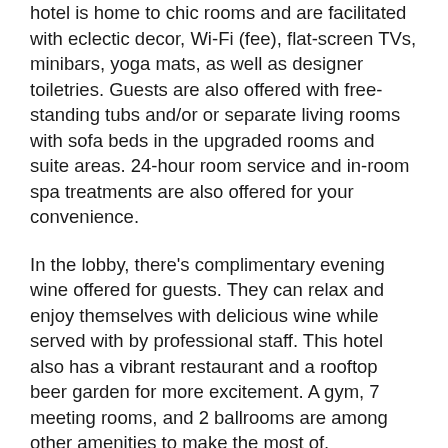hotel is home to chic rooms and are facilitated with eclectic decor, Wi-Fi (fee), flat-screen TVs, minibars, yoga mats, as well as designer toiletries. Guests are also offered with free-standing tubs and/or or separate living rooms with sofa beds in the upgraded rooms and suite areas. 24-hour room service and in-room spa treatments are also offered for your convenience.
In the lobby, there's complimentary evening wine offered for guests. They can relax and enjoy themselves with delicious wine while served with by professional staff. This hotel also has a vibrant restaurant and a rooftop beer garden for more excitement. A gym, 7 meeting rooms, and 2 ballrooms are among other amenities to make the most of.